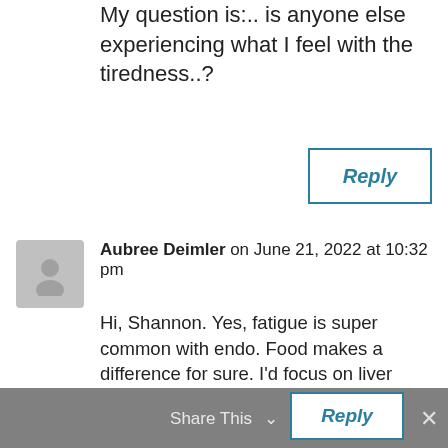My question is:.. is anyone else experiencing what I feel with the tiredness..?
Reply
Aubree Deimler on June 21, 2022 at 10:32 pm
Hi, Shannon. Yes, fatigue is super common with endo. Food makes a difference for sure. I'd focus on liver health, as your liver is your energy center. Recommend checking out Anthony William's Liver Rescue: https://amzn.to/3Or5y32
Share This ∨
Reply
✕